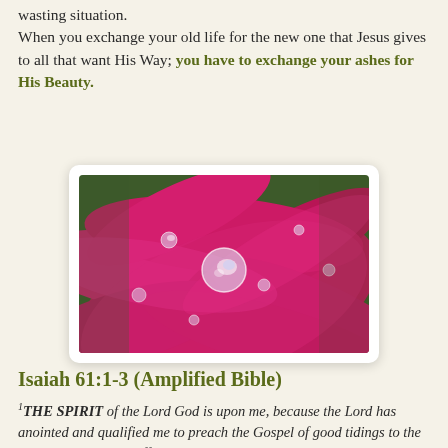wasting situation. When you exchange your old life for the new one that Jesus gives to all that want His Way; you have to exchange your ashes for His Beauty.
[Figure (photo): Close-up photograph of pink/magenta flower petals with water droplets on them, including a large prominent water droplet in the center reflecting light.]
Isaiah 61:1-3 (Amplified Bible)
1THE SPIRIT of the Lord God is upon me, because the Lord has anointed and qualified me to preach the Gospel of good tidings to the meek, the poor, and afflicted; He has sent me to bind up and heal the brokenhearted, to proclaim liberty to the [physical and spiritual] captives and the opening of the prison and of the eyes to